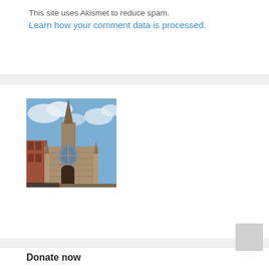This site uses Akismet to reduce spam.
Learn how your comment data is processed.
[Figure (photo): Photograph of a Gothic-style stone church with a tall pointed spire against a partly cloudy blue sky, with red brick buildings visible to the left.]
Donate now